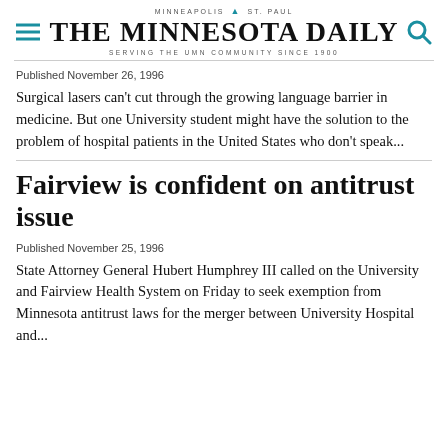MINNEAPOLIS | ST. PAUL — THE MINNESOTA DAILY — SERVING THE UMN COMMUNITY SINCE 1900
Published November 26, 1996
Surgical lasers can't cut through the growing language barrier in medicine. But one University student might have the solution to the problem of hospital patients in the United States who don't speak...
Fairview is confident on antitrust issue
Published November 25, 1996
State Attorney General Hubert Humphrey III called on the University and Fairview Health System on Friday to seek exemption from Minnesota antitrust laws for the merger between University Hospital and...